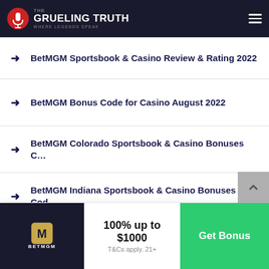The Grueling Truth — Where Legends Speak
BetMGM Sportsbook & Casino Review & Rating 2022
BetMGM Bonus Code for Casino August 2022
BetMGM Colorado Sportsbook & Casino Bonuses C…
BetMGM Indiana Sportsbook & Casino Bonuses Cod…
BetMGM Iowa Sportsbook & Casino Bonuses Codes …
BetMGM Louisiana Sportsbook Bonuses Codes 2022
BetMGM Maryland Sportsbook Bonuses Codes 2022
[Figure (logo): BetMGM logo on dark background]
100% up to $1000
T&Cs apply. 21+
Get Bonus